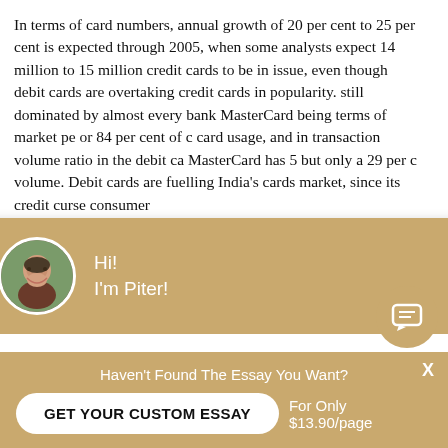In terms of card numbers, annual growth of 20 per cent to 25 per cent is expected through 2005, when some analysts expect 14 million to 15 million credit cards to be in issue, even though debit cards are overtaking credit cards in popularity. still dominated by almost every bank MasterCard being terms of market pe or 84 per cent of c card usage, and in transaction volume ratio in the debit ca MasterCard has 5 but only a 29 per c volume. Debit cards are fuelling India's cards market, since its credit curse consumer
[Figure (screenshot): Chat popup overlay with user avatar (Piter), greeting 'Hi! I'm Piter!', and prompt 'Would you like to get a custom essay? How about receiving a customized one?' with 'Check it out' link]
[Figure (screenshot): Bottom bar with 'Haven't Found The Essay You Want?', 'GET YOUR CUSTOM ESSAY' button, and 'For Only $13.90/page' text]